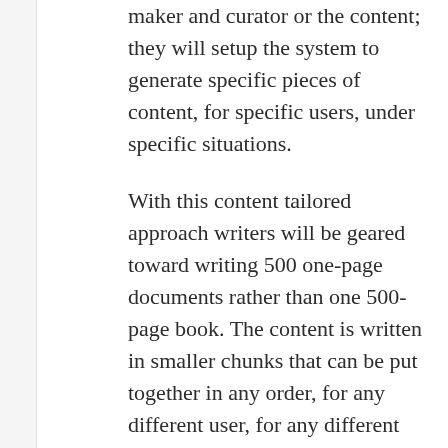maker and curator or the content; they will setup the system to generate specific pieces of content, for specific users, under specific situations.
With this content tailored approach writers will be geared toward writing 500 one-page documents rather than one 500-page book. The content is written in smaller chunks that can be put together in any order, for any different user, for any different state or condition.  The tools to come will handle the mechanics of how this occurs, but writers must understand